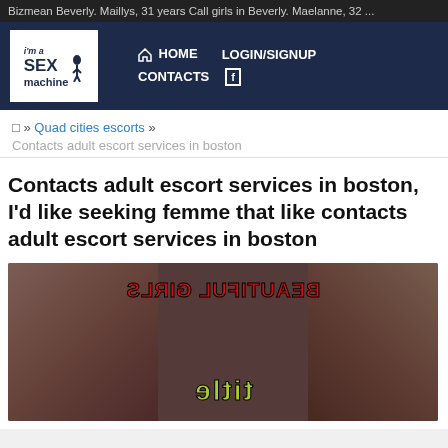Bizmean Beverly. Maillys, 31 years Call girls in Beverly. Maelanne, 32 ...
[Figure (screenshot): Website navigation bar with logo 'i'm a Sex Machine' and links: HOME, LOGIN/SIGNUP, CONTACTS]
» Quad cities escorts » Contacts adult escort services in boston
Contacts adult escort services in boston, I'd like seeking femme that like contacts adult escort services in boston
[Figure (photo): Image with two women and mirrored text reading 'BEAUTIFUL GIRLS' and 'title']